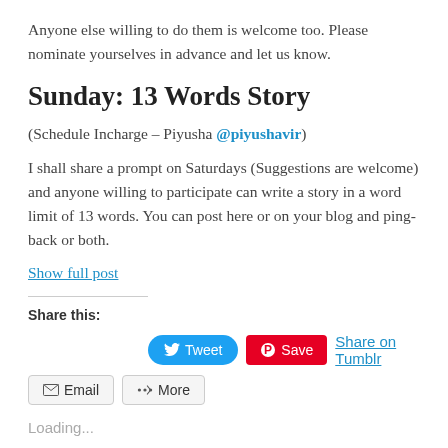Anyone else willing to do them is welcome too. Please nominate yourselves in advance and let us know.
Sunday: 13 Words Story
(Schedule Incharge – Piyusha @piyushavir)
I shall share a prompt on Saturdays (Suggestions are welcome) and anyone willing to participate can write a story in a word limit of 13 words. You can post here or on your blog and ping-back or both.
Show full post
Share this:
[Figure (other): Social share buttons: Tweet (Twitter), Save (Pinterest), Share on Tumblr, Email, More]
Loading...